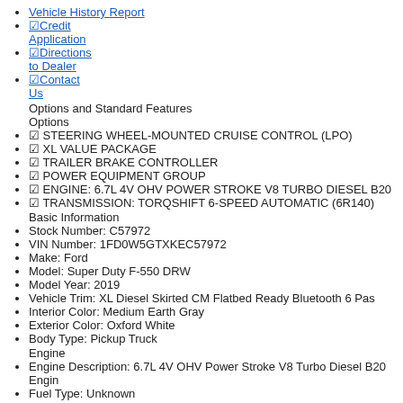Vehicle History Report
Credit Application
Directions to Dealer
Contact Us
Options and Standard Features
Options
• STEERING WHEEL-MOUNTED CRUISE CONTROL (LPO)
• XL VALUE PACKAGE
• TRAILER BRAKE CONTROLLER
• POWER EQUIPMENT GROUP
• ENGINE: 6.7L 4V OHV POWER STROKE V8 TURBO DIESEL B20
• TRANSMISSION: TORQSHIFT 6-SPEED AUTOMATIC (6R140)
Basic Information
Stock Number: C57972
VIN Number: 1FD0W5GTXKEC57972
Make: Ford
Model: Super Duty F-550 DRW
Model Year: 2019
Vehicle Trim: XL Diesel Skirted CM Flatbed Ready Bluetooth 6 Pas
Interior Color: Medium Earth Gray
Exterior Color: Oxford White
Body Type: Pickup Truck
Engine
Engine Description: 6.7L 4V OHV Power Stroke V8 Turbo Diesel B20 Engin
Fuel Type: Unknown